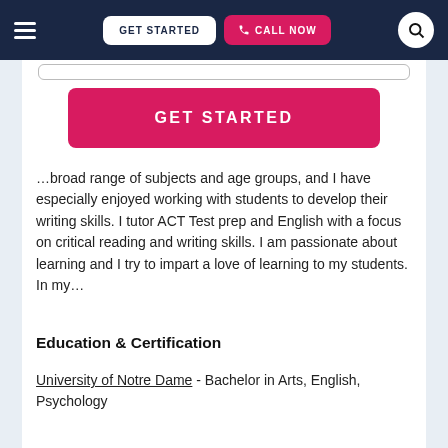GET STARTED | CALL NOW
[Figure (screenshot): GET STARTED button (crimson/pink background, white uppercase text)]
…broad range of subjects and age groups, and I have especially enjoyed working with students to develop their writing skills. I tutor ACT Test prep and English with a focus on critical reading and writing skills. I am passionate about learning and I try to impart a love of learning to my students. In my…
Education & Certification
University of Notre Dame - Bachelor in Arts, English, Psychology